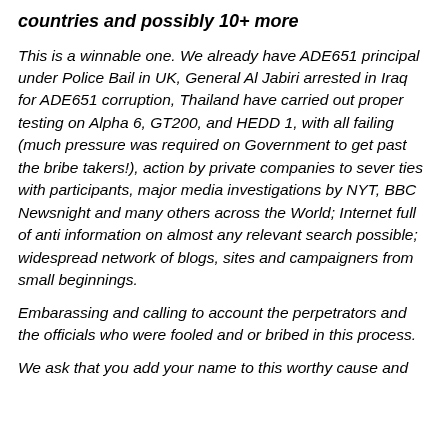countries and possibly 10+ more
This is a winnable one. We already have ADE651 principal under Police Bail in UK, General Al Jabiri arrested in Iraq for ADE651 corruption, Thailand have carried out proper testing on Alpha 6, GT200, and HEDD 1, with all failing (much pressure was required on Government to get past the bribe takers!), action by private companies to sever ties with participants, major media investigations by NYT, BBC Newsnight and many others across the World; Internet full of anti information on almost any relevant search possible; widespread network of blogs, sites and campaigners from small beginnings.
Embarassing and calling to account the perpetrators and the officials who were fooled and or bribed in this process.
We ask that you add your name to this worthy cause and